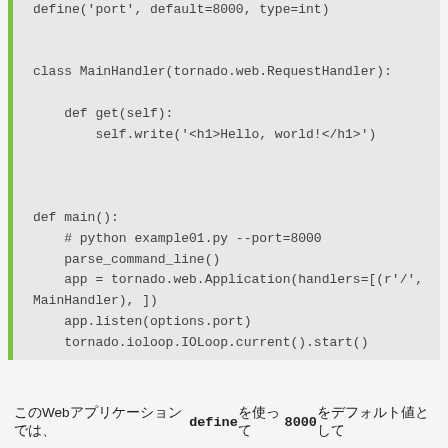define('port', default=8000, type=int)

class MainHandler(tornado.web.RequestHandler):

    def get(self):
        self.write('<h1>Hello, world!</h1>')


def main():
    # python example01.py --port=8000
    parse_command_line()
    app = tornado.web.Application(handlers=[(r'/',
MainHandler), ])
    app.listen(options.port)
    tornado.ioloop.IOLoop.current().start()


if __name__ == '__main__':
    main()
このWebアプリケーションでは、defineを使って8000をデフォルト値として